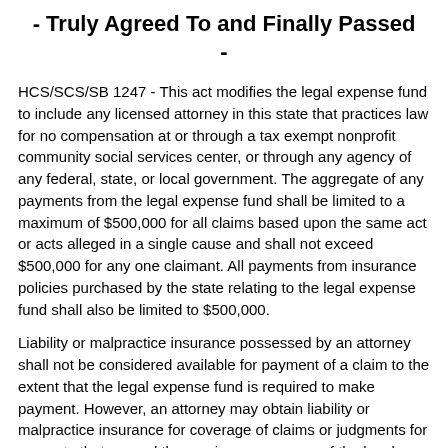- Truly Agreed To and Finally Passed -
HCS/SCS/SB 1247 - This act modifies the legal expense fund to include any licensed attorney in this state that practices law for no compensation at or through a tax exempt nonprofit community social services center, or through any agency of any federal, state, or local government. The aggregate of any payments from the legal expense fund shall be limited to a maximum of $500,000 for all claims based upon the same act or acts alleged in a single cause and shall not exceed $500,000 for any one claimant. All payments from insurance policies purchased by the state relating to the legal expense fund shall also be limited to $500,000.
Liability or malpractice insurance possessed by an attorney shall not be considered available for payment of a claim to the extent that the legal expense fund is required to make payment. However, an attorney may obtain liability or malpractice insurance for coverage of claims or judgments for amounts that exceed the maximum coverage of the legal expense fund.